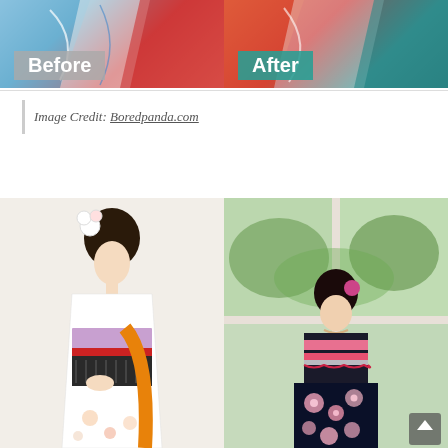[Figure (photo): Side-by-side Before and After photos of Japanese-inspired kimono fashion transformations. Before image shows colorful kimono fabric with blue and red tones. After image shows red and teal tones.]
Image Credit: Boredpanda.com
[Figure (photo): Two photos of women wearing kimono-inspired dresses. Left photo: woman in white strapless dress with purple and red obi sash accents and floral hair accessories. Right photo: woman in dark navy floral dress with pink striped bodice and flower hair accessories, standing near a window with greenery outside.]